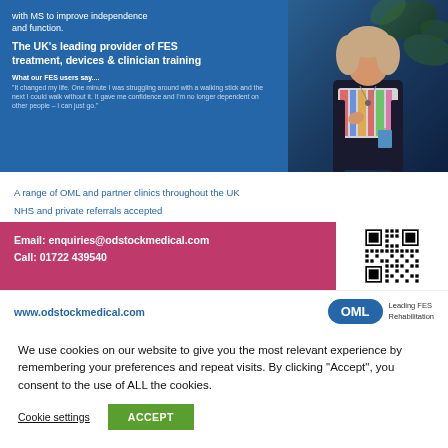with MS to improve independence and function.
The UK's leading provider of FES treatment, devices & clinician training
What our FES users say.... "It changed my life. One minute I was struggling around with a walking stick and the next I could walk without it. It gave me confidence and I'm no longer dependent on other people – I can just go."
[Figure (photo): Woman wearing a colourful scarf and dark jacket, standing outdoors]
A range of OML and partner clinics throughout the UK NHS and private referrals accepted
Email: enquiries@odstockmedical.com
Call: 01722 439540
[Figure (other): QR code for Odstock Medical website]
www.odstockmedical.com
OML
Leading FES Rehabilitation
We use cookies on our website to give you the most relevant experience by remembering your preferences and repeat visits. By clicking “Accept”, you consent to the use of ALL the cookies.
Cookie settings
ACCEPT